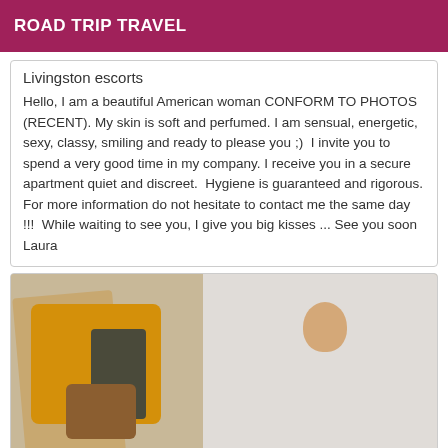ROAD TRIP TRAVEL
Livingston escorts
Hello, I am a beautiful American woman CONFORM TO PHOTOS (RECENT). My skin is soft and perfumed. I am sensual, energetic, sexy, classy, smiling and ready to please you ;)  I invite you to spend a very good time in my company. I receive you in a secure apartment quiet and discreet.  Hygiene is guaranteed and rigorous. For more information do not hesitate to contact me the same day !!!  While waiting to see you, I give you big kisses ...  See you soon  Laura
[Figure (photo): A woman wearing a mustard yellow puffer jacket, tan pants, dark scarf, and carrying a brown/copper bag. She appears to be posed in front of a light background.]